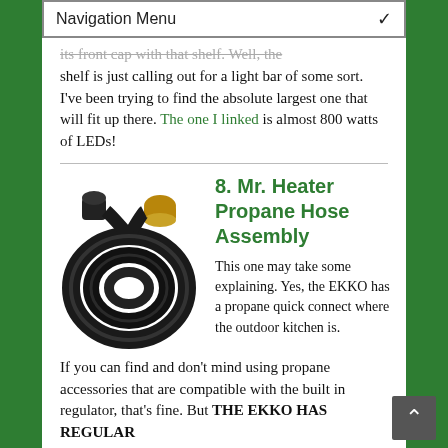Navigation Menu
its front cap with that shelf.  Well, the shelf is just calling out for a light bar of some sort.  I've been trying to find the absolute largest one that will fit up there. The one I linked is almost 800 watts of LEDs!
8. Mr. Heater Propane Hose Assembly
[Figure (photo): Photo of a Mr. Heater propane hose assembly — a coiled black rubber hose with brass fittings on each end and a black connector knob]
This one may take some explaining.  Yes, the EKKO has a propane quick connect where the outdoor kitchen is.  If you can find and don't mind using propane accessories that are compatible with the built in regulator, that's fine.  But THE EKKO HAS REGULAR PROPANE TANKS! Wh...